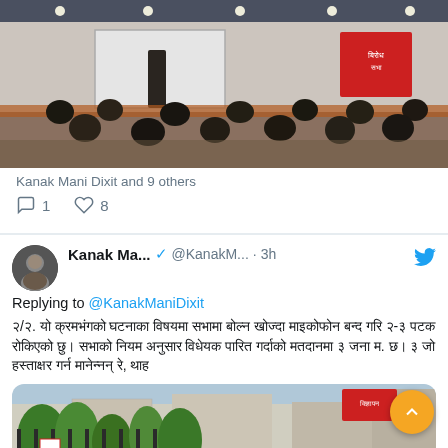[Figure (photo): Conference room photo showing presenter at podium with projection screen and audience seated, banner on right wall]
Kanak Mani Dixit and 9 others
1  8
Kanak Ma... @KanakM... · 3h
Replying to @KanakManiDixit
२/२. यो क्रमभंगको घटनाका विषयमा सभामा बोल्न खोज्दा माइकोफोन बन्द गरि २-३ पटक रोकिएको छु। सभाको नियम अनुसार विधेयक पारित गर्दाको मतदानमा ३ जना म. छ। ३ जो हस्ताक्षर गर्न मानेन्नन् रे, थाह
[Figure (photo): Street scene with fence/gate, trees, buildings and billboards in background]